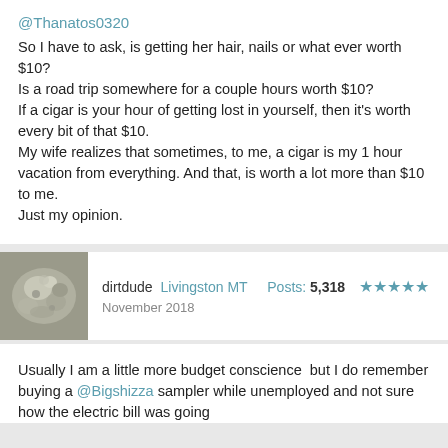@Thanatos0320
So I have to ask, is getting her hair, nails or what ever worth $10?
Is a road trip somewhere for a couple hours worth $10?
If a cigar is your hour of getting lost in yourself, then it's worth every bit of that $10.
My wife realizes that sometimes, to me, a cigar is my 1 hour vacation from everything. And that, is worth a lot more than $10 to me.
Just my opinion.
[Figure (photo): Avatar thumbnail of user dirtdude - small grainy outdoor/rock photo]
dirtdude Livingston MT   Posts: 5,318  ★★★★★
November 2018
Usually I am a little more budget conscience  but I do remember buying a @Bigshizza sampler while unemployed and not sure how the electric bill was going